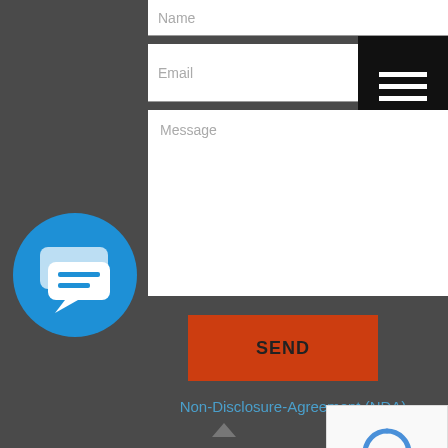[Figure (screenshot): Contact form with Name, Email, Message fields, a SEND button, an NDA link, a chat icon, and a reCAPTCHA widget. Below is a Recent Posts section with a Featured Listing badge and post excerpt text.]